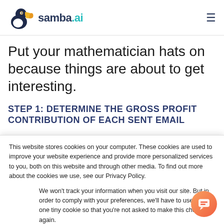samba.ai
Put your mathematician hats on because things are about to get interesting.
STEP 1: DETERMINE THE GROSS PROFIT CONTRIBUTION OF EACH SENT EMAIL
This website stores cookies on your computer. These cookies are used to improve your website experience and provide more personalized services to you, both on this website and through other media. To find out more about the cookies we use, see our Privacy Policy.
We won't track your information when you visit our site. But in order to comply with your preferences, we'll have to use just one tiny cookie so that you're not asked to make this choice again.